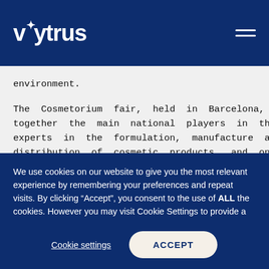vytrus
environment.
The Cosmetorium fair, held in Barcelona, brings together the main national players in the sector, experts in the formulation, manufacture and distribution of cosmetic products, and one of its
We use cookies on our website to give you the most relevant experience by remembering your preferences and repeat visits. By clicking “Accept”, you consent to the use of ALL the cookies. However you may visit Cookie Settings to provide a controlled consent.
Cookie settings
ACCEPT